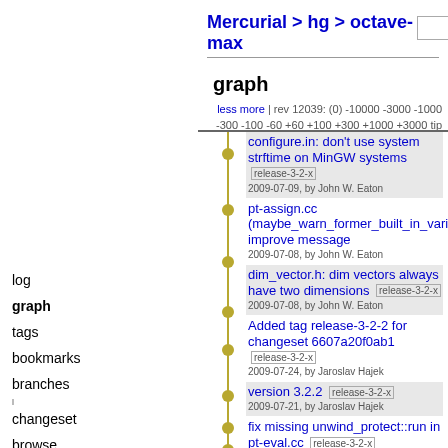Mercurial > hg > octave-max
graph
less more | rev 12039: (0) -10000 -3000 -1000 -300 -100 -60 +60 +100 +300 +1000 +3000 tip
log
graph
tags
bookmarks
branches
changeset
browse
zip
gz
bz2
help
configure.in: don't use system strftime on MinGW systems release-3-2-x
2009-07-09, by John W. Eaton
pt-assign.cc (maybe_warn_former_built_in_variable): improve message
2009-07-08, by John W. Eaton
dim_vector.h: dim vectors always have two dimensions release-3-2-x
2009-07-08, by John W. Eaton
Added tag release-3-2-2 for changeset 6607a20f0ab1 release-3-2-x
2009-07-24, by Jaroslav Hajek
version 3.2.2 release-3-2-x
2009-07-21, by Jaroslav Hajek
fix missing unwind_protect::run in pt-eval.cc release-3-2-x
2009-07-03, by Jaroslav Hajek
fix bugs in sparse reductions release-3-2-x
2009-07-03, by Jaroslav Hajek
allow which look for files on path